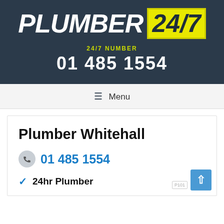[Figure (logo): Plumber 24/7 logo: white italic bold text 'PLUMBER' followed by yellow badge with '24/7' in dark text, on dark navy background]
24/7 NUMBER
01 485 1554
≡ Menu
Plumber Whitehall
01 485 1554
24hr Plumber